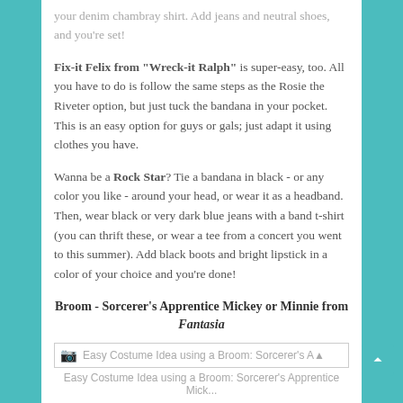your denim chambray shirt. Add jeans and neutral shoes, and you're set!
Fix-it Felix from "Wreck-it Ralph" is super-easy, too. All you have to do is follow the same steps as the Rosie the Riveter option, but just tuck the bandana in your pocket. This is an easy option for guys or gals; just adapt it using clothes you have.
Wanna be a Rock Star? Tie a bandana in black - or any color you like - around your head, or wear it as a headband. Then, wear black or very dark blue jeans with a band t-shirt (you can thrift these, or wear a tee from a concert you went to this summer). Add black boots and bright lipstick in a color of your choice and you're done!
Broom - Sorcerer's Apprentice Mickey or Minnie from Fantasia
[Figure (photo): Easy Costume Idea using a Broom: Sorcerer's Apprentice Mickey or Minnie from Fantasia]
Easy Costume Idea using a Broom: Sorcerer's Apprentice Mick...